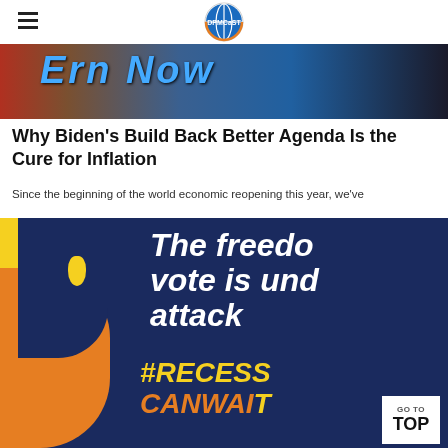DPMCast logo and hamburger menu
[Figure (photo): Cropped photo of protesters holding a sign with letters visible, blue and red tones]
Why Biden’s Build Back Better Agenda Is the Cure for Inflation
Since the beginning of the world economic reopening this year, we’ve
[Figure (photo): Dark navy blue background image with bold italic white text reading 'The freedom vote is under attack' and yellow/orange text '#RECESS CANWAIT' with orange and yellow graphic elements on the left side]